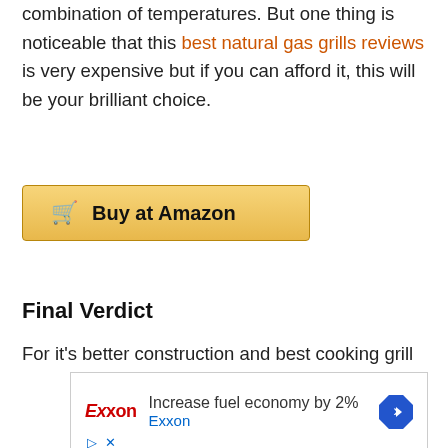can make delicious grilling food by selecting a combination of temperatures. But one thing is noticeable that this best natural gas grills reviews is very expensive but if you can afford it, this will be your brilliant choice.
[Figure (other): Buy at Amazon button with shopping cart icon, golden/yellow gradient background]
Final Verdict
For it's better construction and best cooking grill
[Figure (other): Exxon advertisement: Increase fuel economy by 2% with Exxon logo and navigation arrow icon]